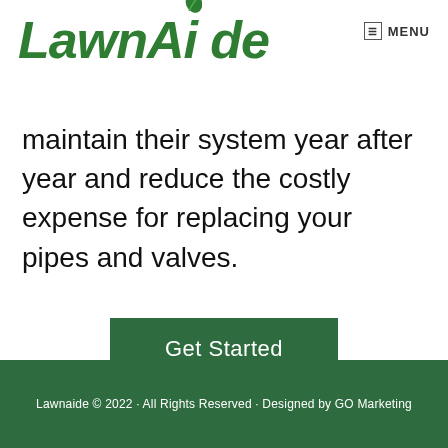LawnAide | MENU
maintain their system year after year and reduce the costly expense for replacing your pipes and valves.
Get Started
Lawnaide © 2022 · All Rights Reserved · Designed by GO Marketing